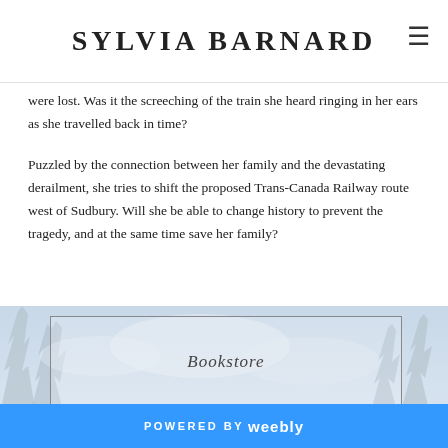SYLVIA BARNARD
were lost. Was it the screeching of the train she heard ringing in her ears as she travelled back in time?
Puzzled by the connection between her family and the devastating derailment, she tries to shift the proposed Trans-Canada Railway route west of Sudbury. Will she be able to change history to prevent the tragedy, and at the same time save her family?
[Figure (illustration): Snowy winter landscape background with a rectangular framed box containing the italic text 'Bookstore']
POWERED BY weebly